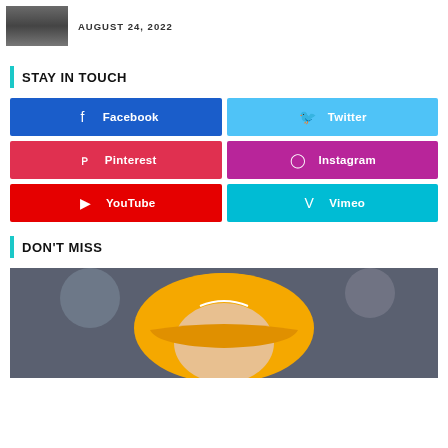[Figure (photo): Small thumbnail photo of a person]
AUGUST 24, 2022
STAY IN TOUCH
[Figure (infographic): Social media buttons grid: Facebook, Twitter, Pinterest, Instagram, YouTube, Vimeo]
DON'T MISS
[Figure (photo): Photo of a person wearing an orange McLaren cap]